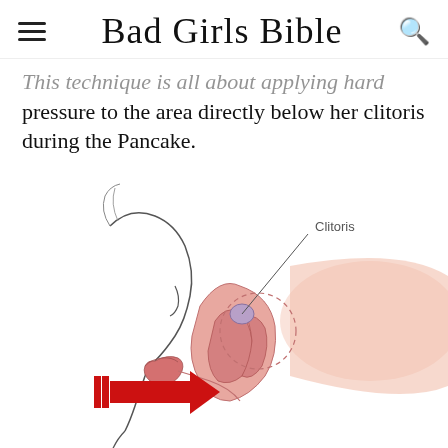Bad Girls Bible
This technique is all about applying hard pressure to the area directly below her clitoris during the Pancake.
[Figure (illustration): Medical illustration showing a side-profile view of oral stimulation technique. A red arrow points toward the area below the clitoris, which is labeled with a line and the text 'Clitoris'. A dashed circle highlights the clitoral region. The illustration uses pink and red tones on a white background.]